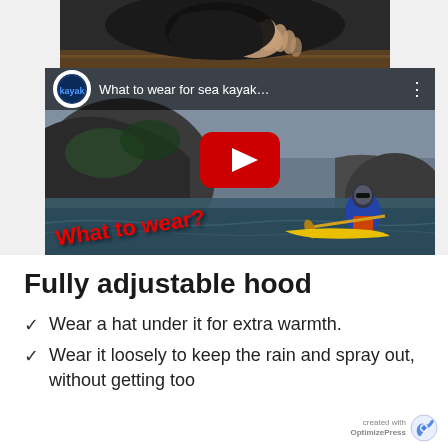[Figure (screenshot): YouTube video embed showing a sea kayaker on water, with title 'What to wear for sea kayak...' and YouTube play button overlay. Red text 'What to wear?' overlaid on video thumbnail. Above it is a partial photo of someone handling dark gear on a wooden surface.]
Fully adjustable hood
Wear a hat under it for extra warmth.
Wear it loosely to keep the rain and spray out, without getting too